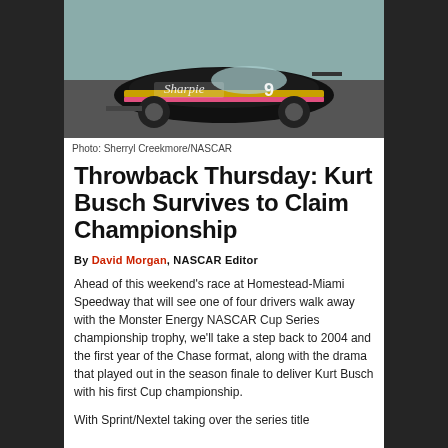[Figure (photo): A black and gold NASCAR race car with Sharpie sponsorship on a track]
Photo: Sherryl Creekmore/NASCAR
Throwback Thursday: Kurt Busch Survives to Claim Championship
By David Morgan, NASCAR Editor
Ahead of this weekend's race at Homestead-Miami Speedway that will see one of four drivers walk away with the Monster Energy NASCAR Cup Series championship trophy, we'll take a step back to 2004 and the first year of the Chase format, along with the drama that played out in the season finale to deliver Kurt Busch with his first Cup championship.
With Sprint/Nextel taking over the series title